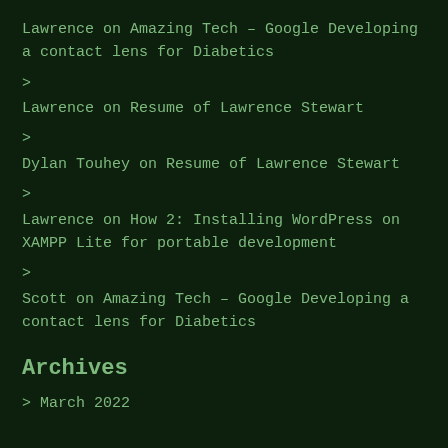Lawrence on Amazing Tech – Google Developing a contact lens for Diabetics
> 
Lawrence on Resume of Lawrence Stewart
> 
Dylan Touhey on Resume of Lawrence Stewart
> 
Lawrence on How 2: Installing WordPress on XAMPP Lite for portable development
> 
Scott on Amazing Tech – Google Developing a contact lens for Diabetics
Archives
> March 2022